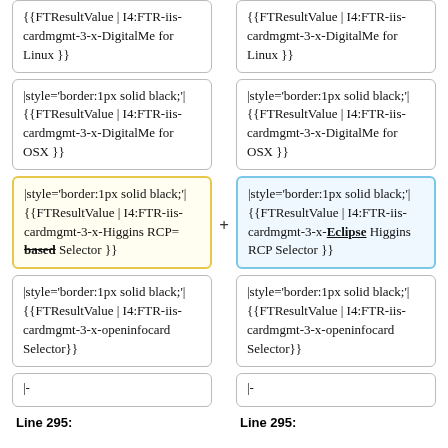{{FTResultValue | I4:FTR-iis-cardmgmt-3-x-DigitalMe for Linux }}
{{FTResultValue | I4:FTR-iis-cardmgmt-3-x-DigitalMe for Linux }}
|style='border:1px solid black;'| {{FTResultValue | I4:FTR-iis-cardmgmt-3-x-DigitalMe for OSX }}
|style='border:1px solid black;'| {{FTResultValue | I4:FTR-iis-cardmgmt-3-x-DigitalMe for OSX }}
|style='border:1px solid black;'| {{FTResultValue | I4:FTR-iis-cardmgmt-3-x-Higgins RCP= based Selector }}
|style='border:1px solid black;'| {{FTResultValue | I4:FTR-iis-cardmgmt-3-x-Eclipse Higgins RCP Selector }}
|style='border:1px solid black;'| {{FTResultValue | I4:FTR-iis-cardmgmt-3-x-openinfocard Selector}}
|style='border:1px solid black;'| {{FTResultValue | I4:FTR-iis-cardmgmt-3-x-openinfocard Selector}}
|-
|-
Line 295:
Line 295: